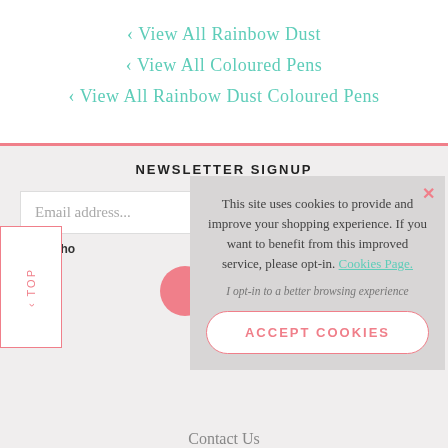‹ View All Rainbow Dust
‹ View All Coloured Pens
‹ View All Rainbow Dust Coloured Pens
NEWSLETTER SIGNUP
Email address...
To see ho
This site uses cookies to provide and improve your shopping experience. If you want to benefit from this improved service, please opt-in. Cookies Page.
I opt-in to a better browsing experience
ACCEPT COOKIES
Contact Us